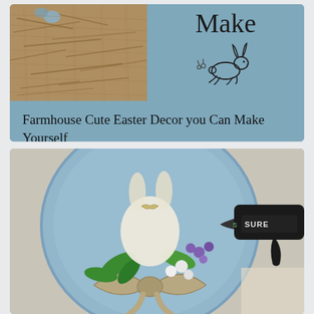[Figure (photo): Top card showing burlap/moss nest material on left and 'Make' text with small bunny illustration on blue-gray background on right]
Farmhouse Cute Easter Decor you Can Make Yourself
[Figure (photo): Bottom card showing a farmhouse-style Easter wreath on a blue plate with a glittery bunny ornament, burlap bow, green leaves, purple and white flowers, and a hot glue gun (Sure brand) visible on the right]